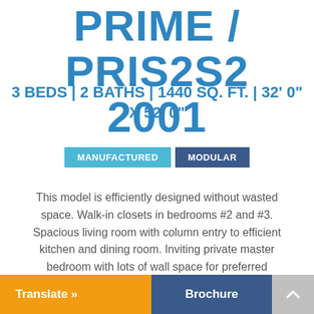PRIME / PRIS2S2 2001
3 BEDS | 2 BATHS | 1440 SQ. FT. | 32' 0" X 52' 0"
MANUFACTURED   MODULAR
This model is efficiently designed without wasted space. Walk-in closets in bedrooms #2 and #3. Spacious living room with column entry to efficient kitchen and dining room. Inviting private master bedroom with lots of wall space for preferred furniture arrangements and luxury bath.
Translate »   Brochure